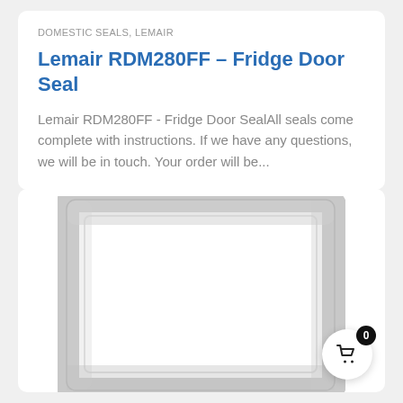DOMESTIC SEALS, LEMAIR
Lemair RDM280FF – Fridge Door Seal
Lemair RDM280FF - Fridge Door SealAll seals come complete with instructions. If we have any questions, we will be in touch. Your order will be...
[Figure (photo): Product photo of a rectangular gray rubber fridge door seal / gasket, shown flat against a white background. The seal forms a complete rectangular frame shape.]